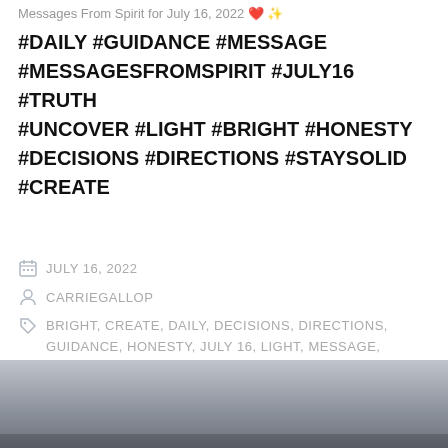Messages From Spirit for July 16, 2022 ❤️ ✨
#DAILY #GUIDANCE #MESSAGE #MESSAGESFROMSPIRIT #JULY16 #TRUTH #UNCOVER #LIGHT #BRIGHT #HONESTY #DECISIONS #DIRECTIONS #STAYSOLID #CREATE
JULY 16, 2022
CARRIEGALLOP
BRIGHT, CREATE, DAILY, DECISIONS, DIRECTIONS, GUIDANCE, HONESTY, JULY 16, LIGHT, MESSAGE, MESSAGES FROM SPIRIT, STAY SOLID, TRUTH, UNCOVER
LEAVE A COMMENT
[Figure (photo): Gray/overcast outdoor scene at bottom of page, partially visible]